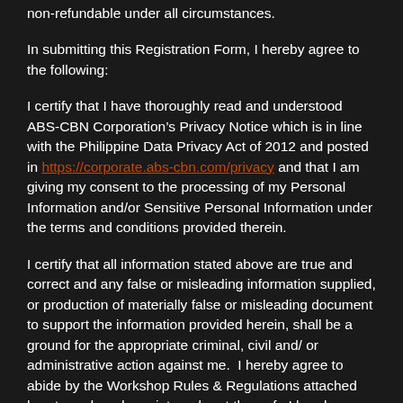non-refundable under all circumstances.
In submitting this Registration Form, I hereby agree to the following:
I certify that I have thoroughly read and understood ABS-CBN Corporation’s Privacy Notice which is in line with the Philippine Data Privacy Act of 2012 and posted in https://corporate.abs-cbn.com/privacy and that I am giving my consent to the processing of my Personal Information and/or Sensitive Personal Information under the terms and conditions provided therein.
I certify that all information stated above are true and correct and any false or misleading information supplied, or production of materially false or misleading document to support the information provided herein, shall be a ground for the appropriate criminal, civil and/ or administrative action against me.  I hereby agree to abide by the Workshop Rules & Regulations attached hereto and made an integral part thereof.  I hereby authorize ABS-CBN Star Magic to make or cause any verification or investigation on any provided or